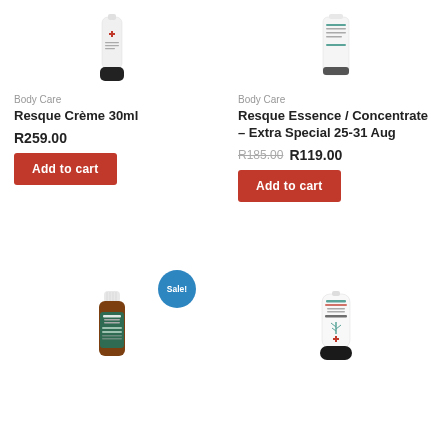[Figure (photo): Annique Resque Crème 30ml product photo - white tube with red cross and dark cap]
Body Care
Resque Crème 30ml
R259.00
Add to cart
[Figure (photo): Annique Resque Essence / Concentrate product photo - white cylindrical container]
Body Care
Resque Essence / Concentrate – Extra Special 25-31 Aug
R185.00 R119.00
Add to cart
[Figure (photo): Annique Resque Treatment Breathe Blend Essential Oils - dark amber small bottle with white ribbed cap and green label]
[Figure (photo): Annique Rooibos Resque Treatment Foot Butter - white tube with red cross and dark cap]